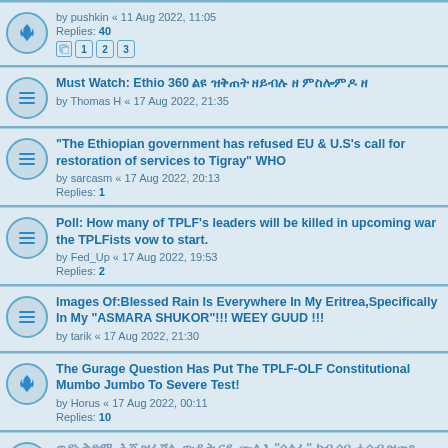by pushkin « 11 Aug 2022, 11:05 | Replies: 40 | Pages: 1 2 3
Must Watch: Ethio 360 [Ethiopic text] | by Thomas H « 17 Aug 2022, 21:35
"The Ethiopian government has refused EU & U.S's call for restoration of services to Tigray" WHO | by sarcasm « 17 Aug 2022, 20:13 | Replies: 1
Poll: How many of TPLF's leaders will be killed in upcoming war the TPLFists vow to start. | by Fed_Up « 17 Aug 2022, 19:53 | Replies: 2
Images Of:Blessed Rain Is Everywhere In My Eritrea,Specifically In My "ASMARA SHUKOR"!!! WEEY GUUD !!! | by tarik « 17 Aug 2022, 21:30
The Gurage Question Has Put The TPLF-OLF Constitutional Mumbo Jumbo To Severe Test! | by Horus « 17 Aug 2022, 00:11 | Replies: 10
[Ethiopic text] | by Justice Seeker « 17 Aug 2022, 20:08 | Replies: 2
As of right now, one US dollar is equivalent to about 92 Ethiopian Birr. | by ANTICO « 17 Aug 2022, 20:30 | Replies: 1
If Terrorist Tplf Starts War With My Eritrea Again We Should...